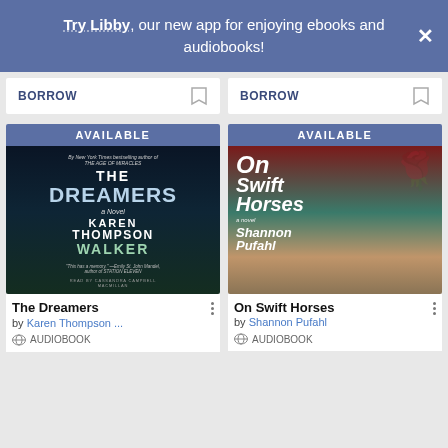Try Libby, our new app for enjoying ebooks and audiobooks!
[Figure (screenshot): Two BORROW buttons with bookmark icons in white cards on a light gray background]
[Figure (photo): Book cover: The Dreamers by Karen Thompson Walker, audiobook. Dark night sky background with mountain silhouette. AVAILABLE badge.]
[Figure (photo): Book cover: On Swift Horses by Shannon Pufahl, audiobook. Pink roses on teal/desert background. AVAILABLE badge.]
The Dreamers
by Karen Thompson ...
AUDIOBOOK
On Swift Horses
by Shannon Pufahl
AUDIOBOOK